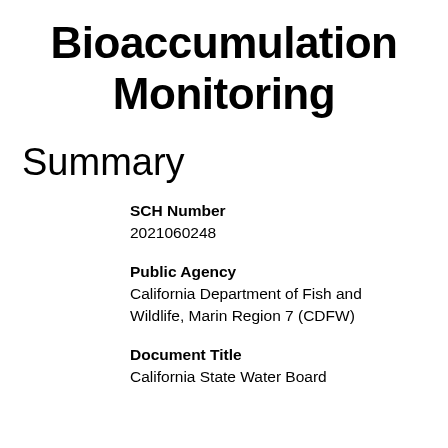Bioaccumulation Monitoring
Summary
SCH Number
2021060248
Public Agency
California Department of Fish and Wildlife, Marin Region 7 (CDFW)
Document Title
California State Water Board